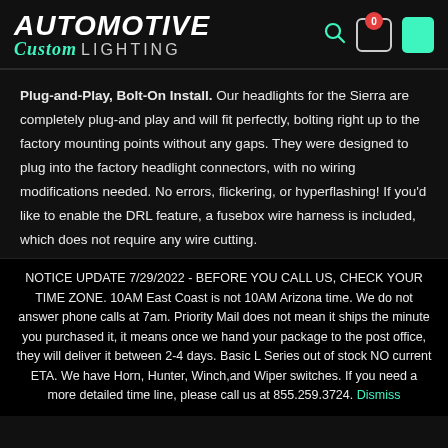AUTOMOTIVE Custom LIGHTING
Plug-and-Play, Bolt-On Install. Our headlights for the Sierra are completely plug-and play and will fit perfectly, bolting right up to the factory mounting points without any gaps. They were designed to plug into the factory headlight connectors, with no wiring modifications needed. No errors, flickering, or hyperflashing! If you'd like to enable the DRL feature, a fusebox wire harness is included, which does not require any wire cutting.
NOTICE UPDATE 7/29/2022 - BEFORE YOU CALL US, CHECK YOUR TIME ZONE. 10AM East Coast is not 10AM Arizona time. We do not answer phone calls at 7am. Priority Mail does not mean it ships the minute you purchased it, it means once we hand your package to the post office, they will deliver it between 2-4 days. Basic L Series out of stock NO current ETA. We have Horn, Hunter, Winch,and Wiper switches. If you need a more detailed time line, please call us at 855.259.3724. Dismiss